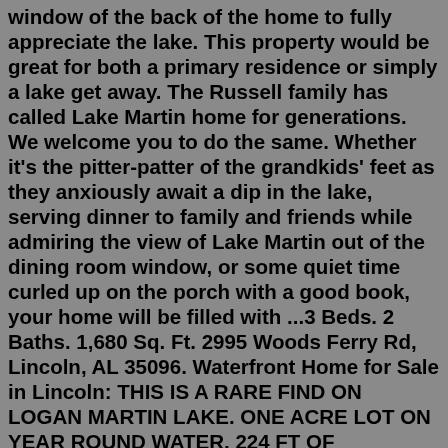window of the back of the home to fully appreciate the lake. This property would be great for both a primary residence or simply a lake get away. The Russell family has called Lake Martin home for generations. We welcome you to do the same. Whether it's the pitter-patter of the grandkids' feet as they anxiously await a dip in the lake, serving dinner to family and friends while admiring the view of Lake Martin out of the dining room window, or some quiet time curled up on the porch with a good book, your home will be filled with ...3 Beds. 2 Baths. 1,680 Sq. Ft. 2995 Woods Ferry Rd, Lincoln, AL 35096. Waterfront Home for Sale in Lincoln: THIS IS A RARE FIND ON LOGAN MARTIN LAKE. ONE ACRE LOT ON YEAR ROUND WATER, 224 FT OF WATERFRONT WITH BOAT LAUNCH. ACROSS THE STREET IS 7 ACRES OF BEAUTIFUL WOODS WITH DEER AND WILDLIFE.Logan Martin Lake Real Estate Specialist Waterfront Homes, Land, Commercial, Call To See It Maria Price, RE/MAX Southern Homes Post Office Box 523,